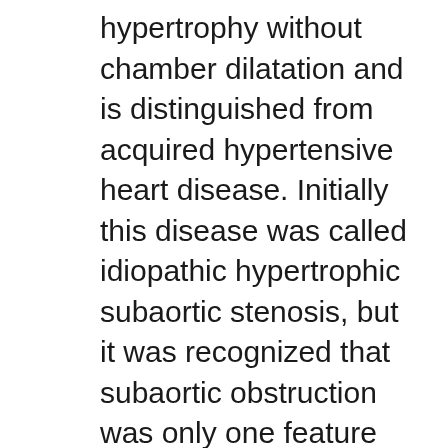hypertrophy without chamber dilatation and is distinguished from acquired hypertensive heart disease. Initially this disease was called idiopathic hypertrophic subaortic stenosis, but it was recognized that subaortic obstruction was only one feature of cardiac hypertrophy. In some cases, the left ventricle or interventricular septum is predominantly involved. The disease is genetically transmitted as an autosomal-dominant trait. The disease can cause sudden death in young patients. Chest radiographs most commonly show normal heart size. This is because the hypertrophy decreases ventricular capacity but does not increase ventricular size. Acquired or secondary hypertrophic cardiomyopathy can be caused by essential hypertension, renal and adrenal disease, endocrine diseases, and left ventricular outflow obstruction (i.e., aortic stenosis).